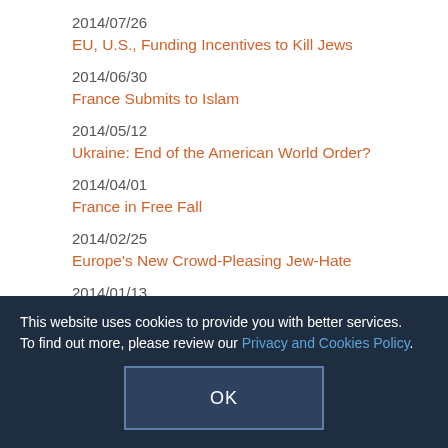2014/07/26
EU, U.S., Funding Incentives to Kill Jews
2014/06/30
France Submits to Islam
2014/05/12
Ukraine: End of the American World Order?
2014/04/01
France in Free Fall
2014/02/25
Europe's New Crowd-Pleasing Jew-Hate
2014/01/13
After Geneva, "The Islamic Bomb"
2013/12/20
France: Anti-Semitism Now Murderous
2013/11/01
Europe's "Moral Values"
2013/07/31
France: Slouching Toward Totalitarianism
This website uses cookies to provide you with better services. To find out more, please review our Privacy and Cookies Policy.